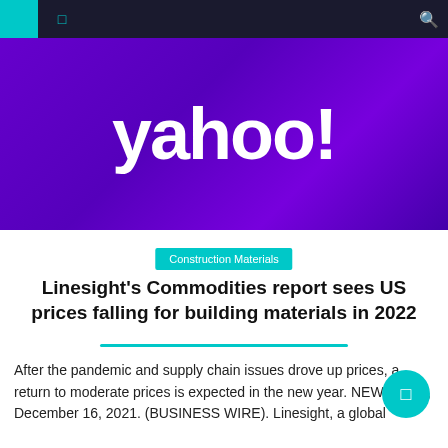[Figure (logo): Yahoo! logo in white text on purple/violet gradient background banner]
Construction Materials
Linesight's Commodities report sees US prices falling for building materials in 2022
After the pandemic and supply chain issues drove up prices, a return to moderate prices is expected in the new year. NEW YORK, December 16, 2021. (BUSINESS WIRE). Linesight, a global